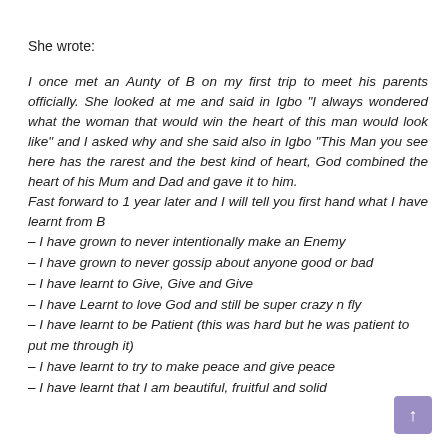She wrote:
I once met an Aunty of B on my first trip to meet his parents officially. She looked at me and said in Igbo “I always wondered what the woman that would win the heart of this man would look like” and I asked why and she said also in Igbo “This Man you see here has the rarest and the best kind of heart, God combined the heart of his Mum and Dad and gave it to him.
Fast forward to 1 year later and I will tell you first hand what I have learnt from B
– I have grown to never intentionally make an Enemy
– I have grown to never gossip about anyone good or bad
– I have learnt to Give, Give and Give
– I have Learnt to love God and still be super crazy n fly
– I have learnt to be Patient (this was hard but he was patient to put me through it)
– I have learnt to try to make peace and give peace
– I have learnt that I am beautiful, fruitful and solid